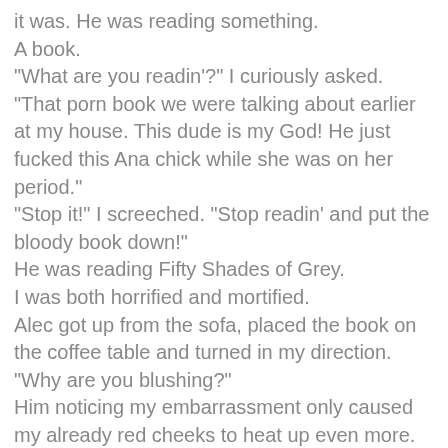it was. He was reading something. A book. "What are you readin'?" I curiously asked. "That porn book we were talking about earlier at my house. This dude is my God! He just fucked this Ana chick while she was on her period." "Stop it!" I screeched. "Stop readin' and put the bloody book down!" He was reading Fifty Shades of Grey. I was both horrified and mortified. Alec got up from the sofa, placed the book on the coffee table and turned in my direction. "Why are you blushing?" Him noticing my embarrassment only caused my already red cheeks to heat up even more. "Oh damn, your cheeks are so flushed," Alec said and took a step towards me. — L.A. Casey